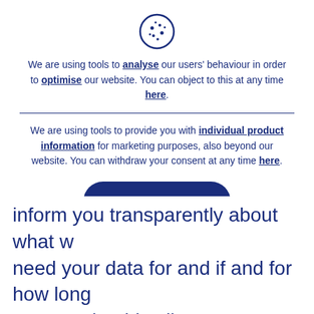[Figure (illustration): Cookie icon: a circle with dots representing a cookie, outlined in dark blue]
We are using tools to analyse our users' behaviour in order to optimise our website. You can object to this at any time here.
We are using tools to provide you with individual product information for marketing purposes, also beyond our website. You can withdraw your consent at any time here.
ACCEPT
> ADAPT
inform you transparently about what we need your data for and if and for how long we store it. This allows you to decide for yourself for which purposes we may use your data. To ensure the best possible